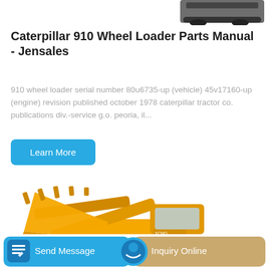[Figure (photo): Partial view of a vehicle/machine at the top of the page]
Caterpillar 910 Wheel Loader Parts Manual - Jensales
910 wheel loader serial number 80u6735-up (vehicle) 45v17160-up (engine) revision published october 1978 caterpillar tractor co. publications div.-service g.o. peoria, il...
[Figure (illustration): Learn More button - blue rounded rectangle]
[Figure (photo): Yellow wheel loader heavy equipment machine photo]
[Figure (infographic): Footer bar with Send Message (blue) and Inquiry Online (tan/gold) buttons with icons]